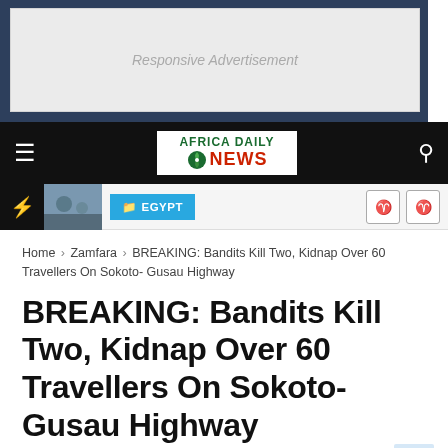[Figure (other): Responsive Advertisement banner placeholder]
AFRICA DAILY NEWS
[Figure (other): Breaking news ticker bar with Egypt tag and thumbnail]
Home > Zamfara > BREAKING: Bandits Kill Two, Kidnap Over 60 Travellers On Sokoto- Gusau Highway
BREAKING: Bandits Kill Two, Kidnap Over 60 Travellers On Sokoto- Gusau Highway
Africa Daily News  July 26, 2021